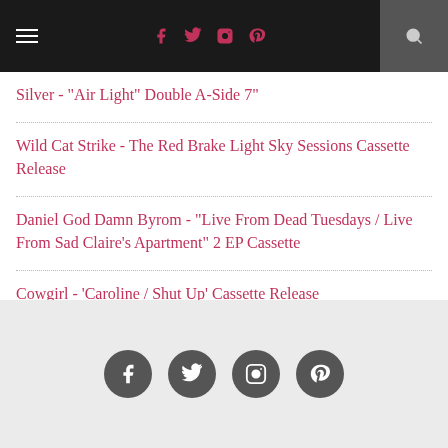Navigation bar with hamburger menu, social icons (Facebook, Twitter, Instagram, Pinterest), and search
Silver - "Air Light" Double A-Side 7"
Wild Cat Strike - The Red Brake Light Sky Sessions Cassette Release
Daniel God Damn Byrom - "Live From Dead Tuesdays / Live From Sad Claire's Apartment" 2 EP Cassette
Cowgirl - 'Caroline / Shut Up' Cassette Release
Social icons: Facebook, Twitter, Instagram, Pinterest